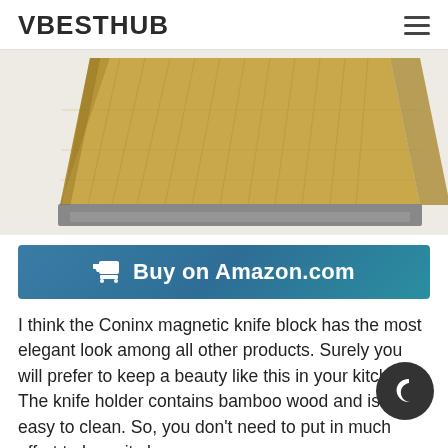VBESTHUB
[Figure (photo): A bamboo magnetic knife block holder photographed from the side, showing wood grain texture, leaning at an angle with a grey metal base.]
Buy on Amazon.com
I think the Coninx magnetic knife block has the most elegant look among all other products. Surely you will prefer to keep a beauty like this in your kitchen. The knife holder contains bamboo wood and is super easy to clean. So, you don't need to put in much effort to keep it clean.